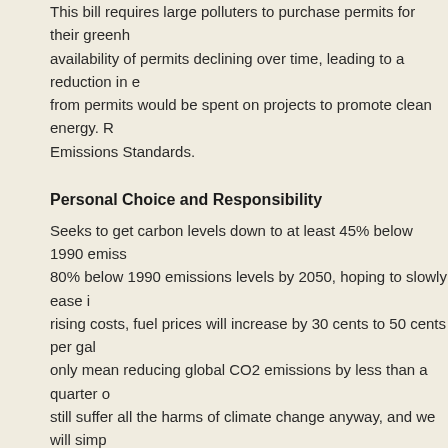This bill requires large polluters to purchase permits for their greenhouse gas emissions, with the availability of permits declining over time, leading to a reduction in emissions. Revenue raised from permits would be spent on projects to promote clean energy. Renewable Energy Emissions Standards.
Personal Choice and Responsibility
Seeks to get carbon levels down to at least 45% below 1990 emissions levels by 2035, and 80% below 1990 emissions levels by 2050, hoping to slowly ease in consumers to the rising costs, fuel prices will increase by 30 cents to 50 cents per gallon. Oregon's actions only mean reducing global CO2 emissions by less than a quarter of one percent, we will still suffer all the harms of climate change anyway, and we will simply bankrupt ourselves in the attempt. Overrides consumer protection that PUC was designed to provide.
Fiscal Responsibility
From the cost of mining aggregates and manufacturing concrete and asphalt to their placement, the ripple effect will be significant. As an example, the Oregon Department of Transportation's construction budget is about $1 billion a year. Oregon's bill would create an immediate 16-cent per gallon increase in gas, following a 10-cent increase already set by the 2017 transportation funding package. The current average p